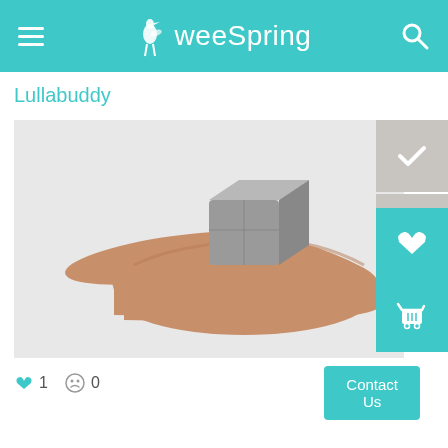weeSpring
Lullabuddy
[Figure (photo): A hand holding a small metallic cube-shaped device (Lullabuddy) against a light gray background.]
♥ 1   ☹ 0
Contact Us